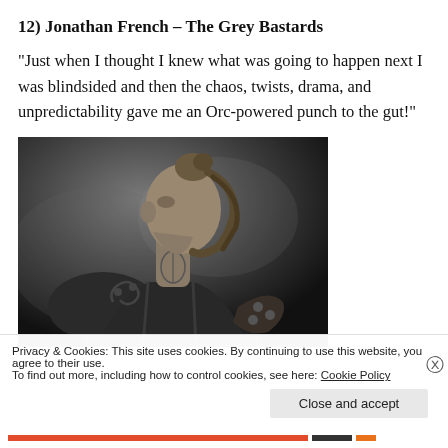12) Jonathan French – The Grey Bastards
“Just when I thought I knew what was going to happen next I was blindsided and then the chaos, twists, drama, and unpredictability gave me an Orc-powered punch to the gut!”
[Figure (photo): Black and white illustration/photo of a warrior figure seen from behind/side, with hair in a bun, tattoos on neck and shoulder, wearing leather armor with metal studs. Dark moody background.]
Privacy & Cookies: This site uses cookies. By continuing to use this website, you agree to their use.
To find out more, including how to control cookies, see here: Cookie Policy
Close and accept